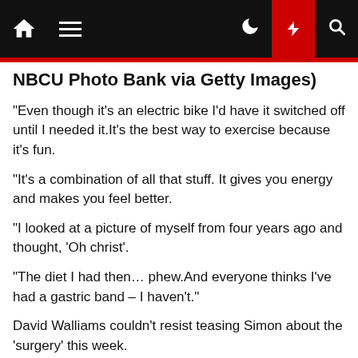Navigation bar with home, menu, moon, lightning, and search icons
NBCU Photo Bank via Getty Images)
“Even though it’s an electric bike I’d have it switched off until I needed it.It’s the best way to exercise because it’s fun.
“It’s a combination of all that stuff. It gives you energy and makes you feel better.
“I looked at a picture of myself from four years ago and thought, ‘Oh christ’.
“The diet I had then… phew.And everyone thinks I’ve had a gastric band – I haven’t.”
David Walliams couldn’t resist teasing Simon about the ‘surgery’ this week.